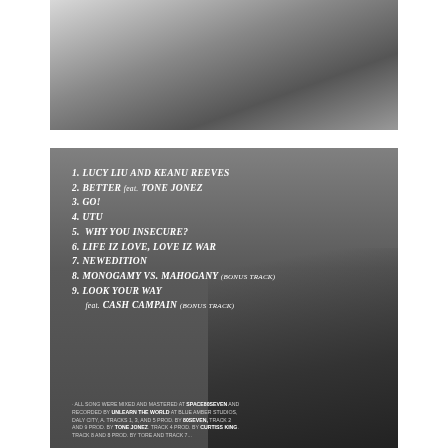[Figure (photo): Black and white photo of a person in a floral/patterned jacket, upper body visible, cropped at chest level.]
[Figure (photo): Album back cover in black and white showing a man seated in a chair with luggage, with a tracklist overlay.]
1. LUCY LIU AND KEANU REEVES
2. BETTER feat. TONE JONEZ
3. GO!
4. UTU
5. WHY YOU INSECURE?
6. LIFE IZ LOVE, LOVE IZ WAR
7. NEWEDITION
8. MONOGAMY VS. MAHOGANY (BONUS TRACK)
9. LOOK YOUR WAY FEAT. CASH CAMPAIN (BONUS TRACK)
ALL SONG WERE MIXED AND MASTERED AT SPACE80SEVEN AND RECORDED BY UNLEARN THE WORLD AT BLUE AMBER STUDIOS, DALY CITY, A. TRACKS 1, 3, AND 5 PROD. BY 80SEVEN, TRACK 2 AND 9 PROD. BY TONE JONEZ. TRACK 4 PROD. BY CURTISS KING. TRACK 8 AND 8 PROD. BY TORE AND TRACK 7...